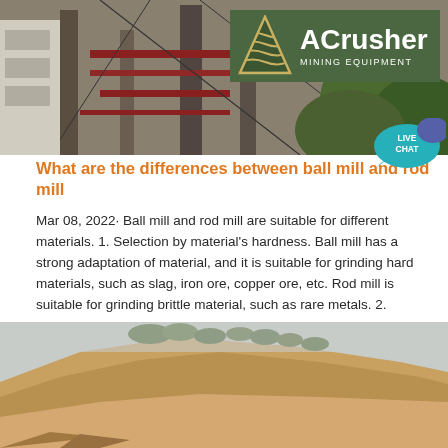[Figure (photo): Industrial mining equipment / steel structure facility photo at the top of the page]
[Figure (logo): ACrusher Mining Equipment logo with green background and triangle icon]
[Figure (infographic): Live Chat bubble icon in teal/blue]
What are the differences between ball mill and rod mill
Mar 08, 2022· Ball mill and rod mill are suitable for different materials. 1. Selection by material's hardness. Ball mill has a strong adaptation of material, and it is suitable for grinding hard materials, such as slag, iron ore, copper ore, etc. Rod mill is suitable for grinding brittle material, such as rare metals. 2.
Get Price →
[Figure (photo): Open-pit quarry or mining site with exposed rock face and sandy cliff with trees at top, overcast sky]